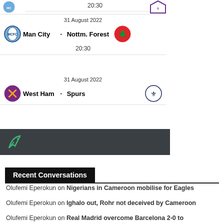20:30
| Date | Home |  | Away | Time |
| --- | --- | --- | --- | --- |
| 31 August 2022 | Man City | - | Nottm. Forest | 20:30 |
| 31 August 2022 | West Ham | - | Spurs |  |
Recent Conversations
Olufemi Eperokun on Nigerians in Cameroon mobilise for Eagles
Olufemi Eperokun on Ighalo out, Rohr not deceived by Cameroon
Olufemi Eperokun on Real Madrid overcome Barcelona 2-0 to lift Super Cup
Olufemi Eperokun on Cameroon Lions better than Eagles – Rohr
Olufemi Eperokun on AfroBasket: Nigeria beat Mozambique